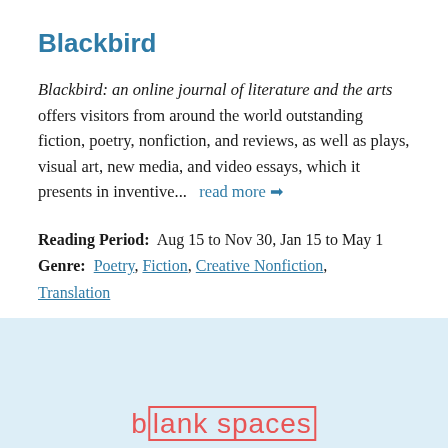Blackbird
Blackbird: an online journal of literature and the arts offers visitors from around the world outstanding fiction, poetry, nonfiction, and reviews, as well as plays, visual art, new media, and video essays, which it presents in inventive...   read more ➔
Reading Period:  Aug 15 to Nov 30, Jan 15 to May 1
Genre:  Poetry, Fiction, Creative Nonfiction, Translation
[Figure (logo): blank spaces logo with partial text visible at bottom of page on light blue background, text in red/salmon color with a rectangular border around 'lank spaces']